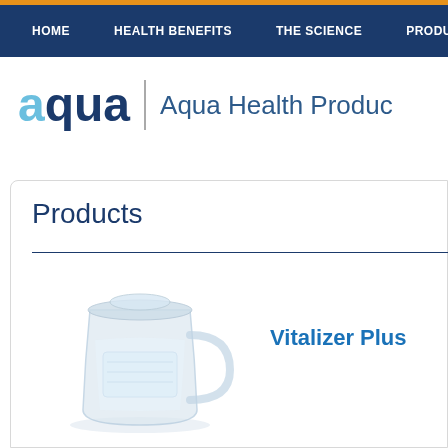HOME | HEALTH BENEFITS | THE SCIENCE | PRODUCTS
[Figure (logo): Aqua Health Products logo with stylized 'aqua' text in blue tones and the full name 'Aqua Health Products']
Products
[Figure (photo): A water pitcher/filter product (Vitalizer Plus) shown in light blue/white tones]
Vitalizer Plus